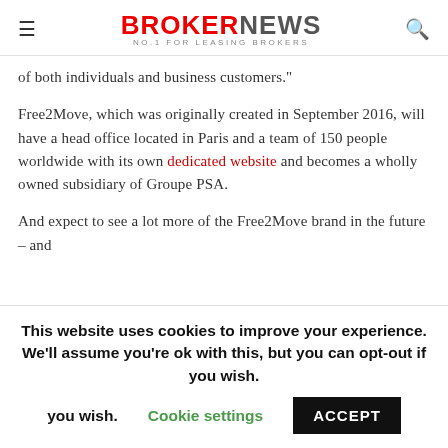BROKERNEWS No.1 FOR LEASING BROKERS
of both individuals and business customers."
Free2Move, which was originally created in September 2016, will have a head office located in Paris and a team of 150 people worldwide with its own dedicated website and becomes a wholly owned subsidiary of Groupe PSA.
And expect to see a lot more of the Free2Move brand in the future – and
This website uses cookies to improve your experience. We'll assume you're ok with this, but you can opt-out if you wish. Cookie settings ACCEPT